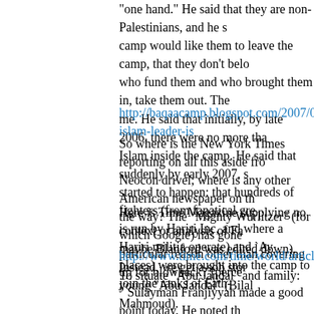"one hand." He said that they are non-Palestinians, and he s camp would like them to leave the camp, that they don't belo who fund them and who brought them in, take them out. The me. He said that initially, by late 2006, there were no more tha Islam inside the camp. He said that suddenly by early 2007, s started to happen: that hundreds of fighters (from fanatical gr is run by Hariri Inc, and where a Hariri militia operate) and `Ay places) were brought into the camp to join the ranks of Fath-
http://baqaacamp.blogspot.com/2007/05/fateh-islam-leader-is
So where is the New York Times reporting on all this aside fro Neocon drivel; where is any other American newspaper on th the way? The "Mighty Wurlitzer" (for which Google) has gone particular reason other than covering up for blowback? [perce
Here is Time Magazine supplying no context or analysis of Fa maybe Blanford was edited down). Instead, we get a sob stor young "Abu Jandal" (Bilal Mahmoud).
http://www.time.com/time/world/article/0,8599,1625798,00.htm
To situate "Abu Jandal" and family:
" Sulayman Franjiyyah made a good point today. He noted th admitted in front of the TV cameras that the family is a suppo
http://angryarab.blogspot.com/